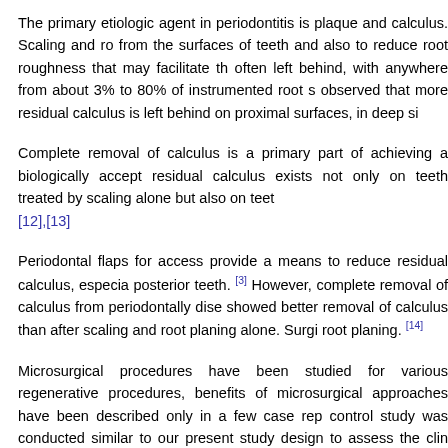The primary etiologic agent in periodontitis is plaque and calculus. Scaling and ro from the surfaces of teeth and also to reduce root roughness that may facilitate th often left behind, with anywhere from about 3% to 80% of instrumented root s observed that more residual calculus is left behind on proximal surfaces, in deep si
Complete removal of calculus is a primary part of achieving a biologically accept residual calculus exists not only on teeth treated by scaling alone but also on teet [12],[13]
Periodontal flaps for access provide a means to reduce residual calculus, especia posterior teeth. [3] However, complete removal of calculus from periodontally dise showed better removal of calculus than after scaling and root planing alone. Surgi root planing. [14]
Microsurgical procedures have been studied for various regenerative procedures, benefits of microsurgical approaches have been described only in a few case rep control study was conducted similar to our present study design to assess the clin there is no clinical study to compare microsurgical and conventional open flap debr
In the present split mouth study, three teeth with probing pocket depth ≥5 mm were probing pocket depth were considered as controls. Both test and control sites show